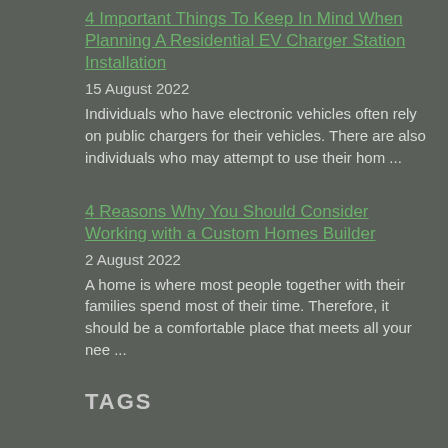4 Important Things To Keep In Mind When Planning A Residential EV Charger Station Installation
15 August 2022
Individuals who have electronic vehicles often rely on public chargers for their vehicles. There are also individuals who may attempt to use their hom ...
4 Reasons Why You Should Consider Working with a Custom Homes Builder
2 August 2022
A home is where most people together with their families spend most of their time. Therefore, it should be a comfortable place that meets all your nee ...
TAGS